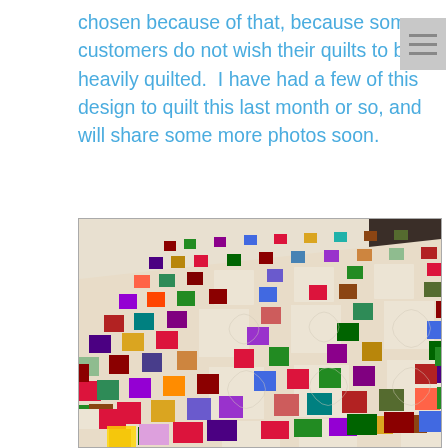chosen because of that, because some customers do not wish their quilts to be heavily quilted.  I have had a few of this design to quilt this last month or so, and will share some more photos soon.
[Figure (photo): A colorful patchwork quilt with a nine-patch pattern, laid out on a bed. The quilt features multicolored fabric squares in various patterns (red, blue, green, purple, yellow, and many prints) alternating with large white/cream blocks. The quilting shows decorative swirl/feather patterns in the white areas.]